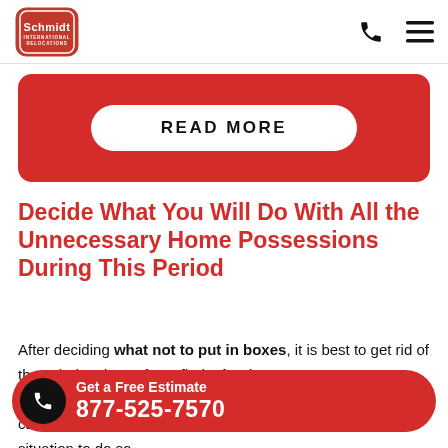[Figure (logo): Schmidt International Relocations logo - red shield/badge shape with white text]
READ MORE
Decide What You Will Do With All the Unnecessary Home Possessions During This Period
After deciding what not to put in boxes, it is best to get rid of those belongings. If you find a few hours to spare ... e sale. Extra ca ... ating. However, if you are not in a situation to do so,
Get a Free Estimate 877-525-7570